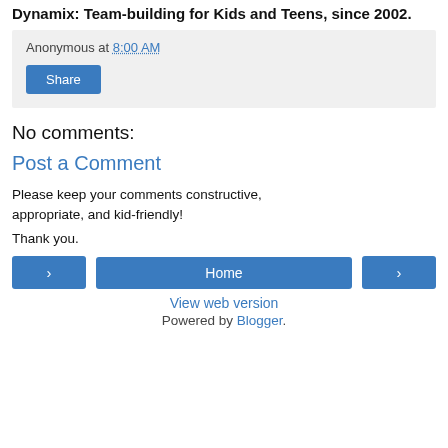Dynamix: Team-building for Kids and Teens, since 2002.
Anonymous at 8:00 AM
Share
No comments:
Post a Comment
Please keep your comments constructive, appropriate, and kid-friendly!
Thank you.
‹  Home  ›
View web version
Powered by Blogger.